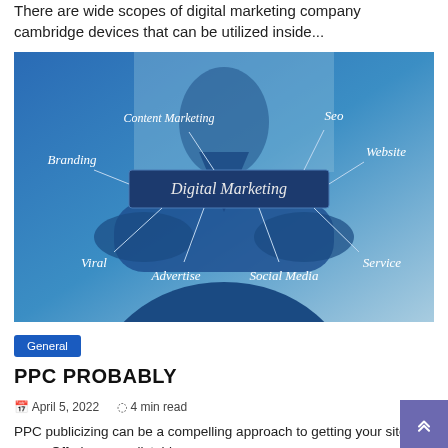There are wide scopes of digital marketing company cambridge devices that can be utilized inside...
[Figure (photo): Person in blue suit with arms crossed, surrounded by digital marketing terms: Content Marketing, Seo, Branding, Website, Digital Marketing (center box), Viral, Service, Advertise, Social Media]
General
PPC PROBABLY
April 5, 2022   4 min read
PPC publicizing can be a compelling approach to getting your site seen. Offering a predictable